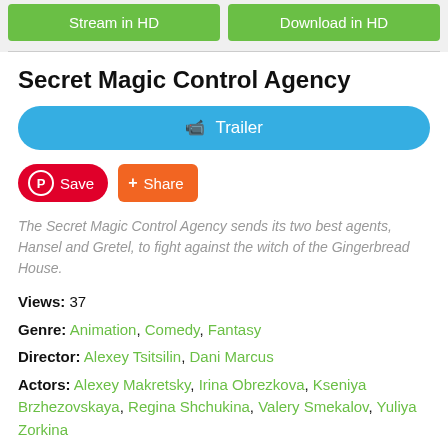[Figure (other): Two green buttons: 'Stream in HD' and 'Download in HD']
Secret Magic Control Agency
[Figure (other): Blue rounded Trailer button with camera icon]
[Figure (other): Red Save button and orange Share button]
The Secret Magic Control Agency sends its two best agents, Hansel and Gretel, to fight against the witch of the Gingerbread House.
Views: 37
Genre: Animation, Comedy, Fantasy
Director: Alexey Tsitsilin, Dani Marcus
Actors: Alexey Makretsky, Irina Obrezkova, Kseniya Brzhezovskaya, Regina Shchukina, Valery Smekalov, Yuliya Zorkina
Country: Russia, USA
Duration: 104
Quality: 4K
Release: 2021
IMDb: 6.2